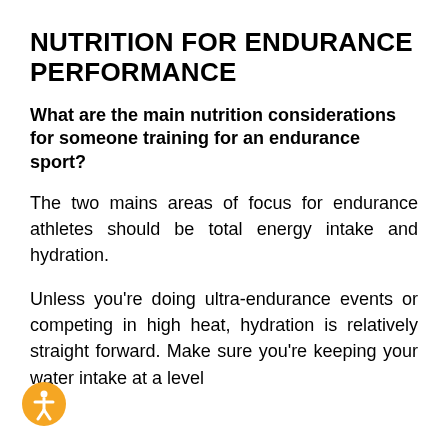NUTRITION FOR ENDURANCE PERFORMANCE
What are the main nutrition considerations for someone training for an endurance sport?
The two mains areas of focus for endurance athletes should be total energy intake and hydration.
Unless you’re doing ultra-endurance events or competing in high heat, hydration is relatively straight forward. Make sure you’re keeping your water intake at a level